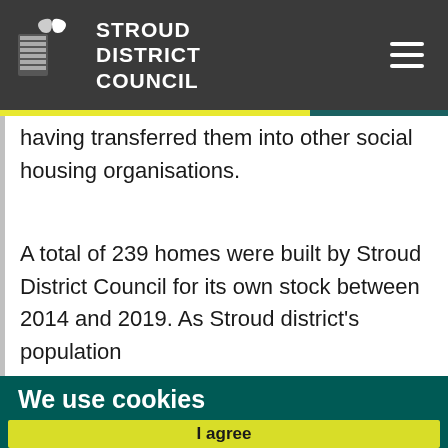Stroud District Council
having transferred them into other social housing organisations.
A total of 239 homes were built by Stroud District Council for its own stock between 2014 and 2019. As Stroud district's population
We use cookies
We use cookies and other tracking technologies to improve your browsing experience on our website, to analyse our website traffic, and to understand where our visitors are coming from.
I agree